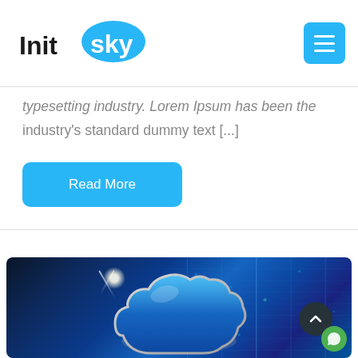Initsky
typesetting industry. Lorem Ipsum has been the industry's standard dummy text [...]
Read More
[Figure (photo): A glowing blue metallic cloud icon in the foreground against a background of blue server racks with neon blue lighting and digital data patterns]